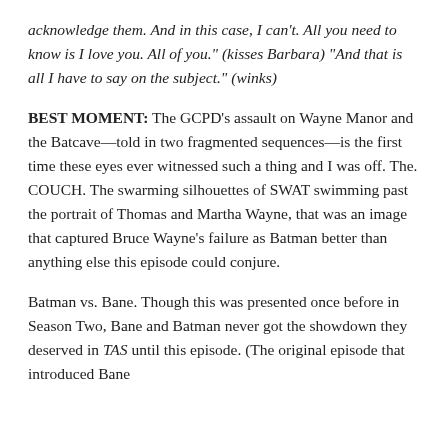acknowledge them. And in this case, I can't. All you need to know is I love you. All of you." (kisses Barbara) "And that is all I have to say on the subject." (winks)
BEST MOMENT: The GCPD's assault on Wayne Manor and the Batcave—told in two fragmented sequences—is the first time these eyes ever witnessed such a thing and I was off. The. COUCH. The swarming silhouettes of SWAT swimming past the portrait of Thomas and Martha Wayne, that was an image that captured Bruce Wayne's failure as Batman better than anything else this episode could conjure.
Batman vs. Bane. Though this was presented once before in Season Two, Bane and Batman never got the showdown they deserved in TAS until this episode. (The original episode that introduced Bane was reportedly added by the studio above the th...